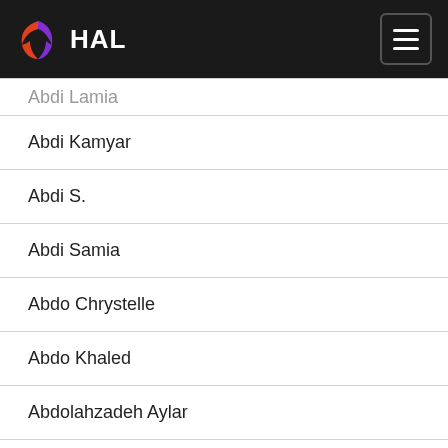HAL
Abdi Lamia
Abdi Kamyar
Abdi S.
Abdi Samia
Abdo Chrystelle
Abdo Khaled
Abdolahzadeh Aylar
Abdou Ahmed M.
Abdou Ahmed Marwan
Abdou-Ahmed Marwan